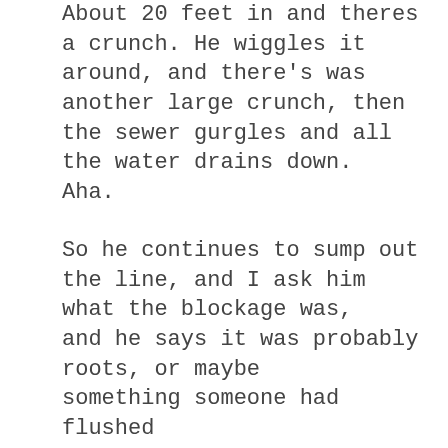About 20 feet in and theres a crunch. He wiggles it around, and there's was another large crunch, then the sewer gurgles and all the water drains down. Aha.
So he continues to sump out the line, and I ask him what the blockage was, and he says it was probably roots, or maybe something someone had flushed down the drain. Lovely, says I.
Then he pulls the big evil drain unclogging thing back up through the drains, and on the end of the spikes is a rather large grey sodden furry thing. I